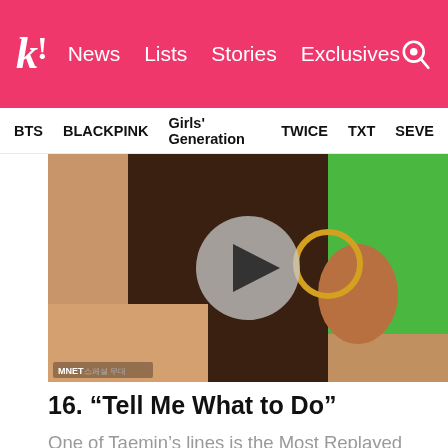k! News Lists Stories Exclusives
BTS BLACKPINK Girls' Generation TWICE TXT SEVE
[Figure (screenshot): Video thumbnail of a person holding a gold hoop earring, with green screen background and a play button overlay. MNET watermark visible at bottom left. Timestamp begins at 2:13.]
16. “Tell Me What to Do”
One of Taemin’s lines is the Most Replayed scene of this video! This clip starts at 2:13.
[Figure (screenshot): Dark video thumbnail showing a person in a dark scene, SM Entertainment watermark visible in top right.]